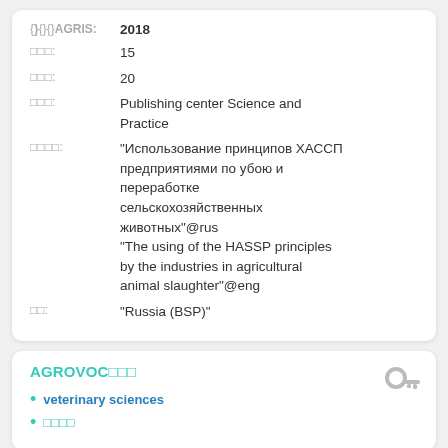AGRIS: 2018
том: 15
вып: 20
изд: Publishing center Science and Practice
загл: "Использование принципов ХАССП предприятиями по убою и переработке сельскохозяйственных животных"@rus "The using of the HASSP principles by the industries in agricultural animal slaughter"@eng
ст: "Russia (BSP)"
AGROVOC词语
veterinary sciences
词语词语